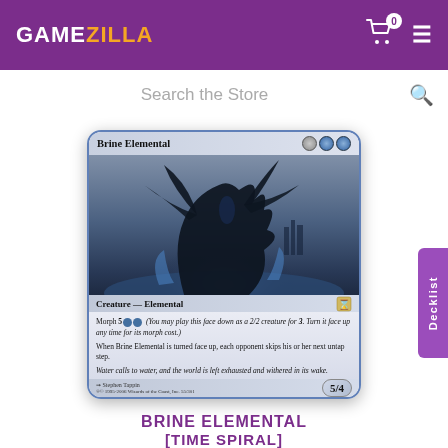GAMEZILLA
Search the Store
[Figure (photo): Magic: The Gathering card - Brine Elemental from Time Spiral set. Shows a dark aquatic creature with large curved claws rising from water. Card text: Creature — Elemental. Morph 5UU. When Brine Elemental is turned face up, each opponent skips his or her next untap step. Flavor text: Water calls to water, and the world is left exhausted and withered in its wake. Power/Toughness: 5/4. Artist: Stephen Tappin.]
BRINE ELEMENTAL [TIME SPIRAL]